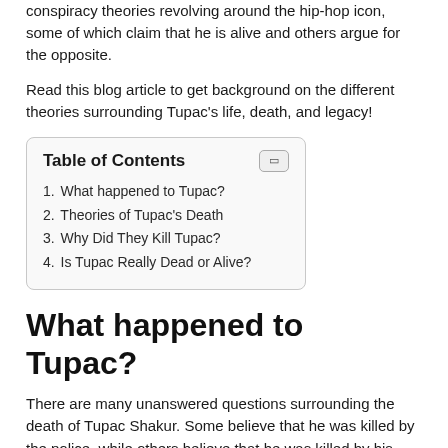conspiracy theories revolving around the hip-hop icon, some of which claim that he is alive and others argue for the opposite.
Read this blog article to get background on the different theories surrounding Tupac's life, death, and legacy!
| Table of Contents |
| --- |
| 1. What happened to Tupac? |
| 2. Theories of Tupac's Death |
| 3. Why Did They Kill Tupac? |
| 4. Is Tupac Really Dead or Alive? |
What happened to Tupac?
There are many unanswered questions surrounding the death of Tupac Shakur. Some believe that he was killed by the police, while others believe that he was killed by his own crew because he threatened to expose their criminal activity.